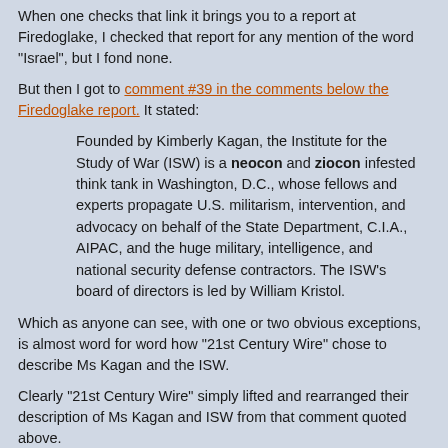When one checks that link it brings you to a report at Firedoglake, I checked that report for any mention of the word "Israel", but I fond none.
But then I got to comment #39 in the comments below the Firedoglake report. It stated:
Founded by Kimberly Kagan, the Institute for the Study of War (ISW) is a neocon and ziocon infested think tank in Washington, D.C., whose fellows and experts propagate U.S. militarism, intervention, and advocacy on behalf of the State Department, C.I.A., AIPAC, and the huge military, intelligence, and national security defense contractors. The ISW's board of directors is led by William Kristol.
Which as anyone can see, with one or two obvious exceptions, is almost word for word how "21st Century Wire" chose to describe Ms Kagan and the ISW.
Clearly "21st Century Wire" simply lifted and rearranged their description of Ms Kagan and ISW from that comment quoted above.
But most noteworthy is that they only chose to use one of the two words I bolded above
Posted by: hmm | Sep 16 2013 11:52 utc | 15